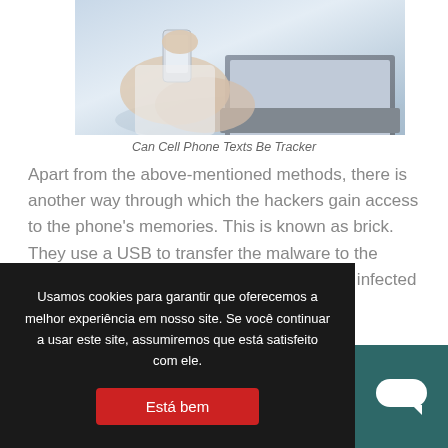[Figure (photo): Person holding a smartphone with a laptop visible in the background on a desk]
Can Cell Phone Texts Be Tracker
Apart from the above-mentioned methods, there is another way through which the hackers gain access to the phone's memories. This is known as brick. They use a USB to transfer the malware to the targeted cell phone. Once the malware has infected the phone, it cannot respond to
Usamos cookies para garantir que oferecemos a melhor experiência em nosso site. Se você continuar a usar este site, assumiremos que está satisfeito com ele.
Está bem